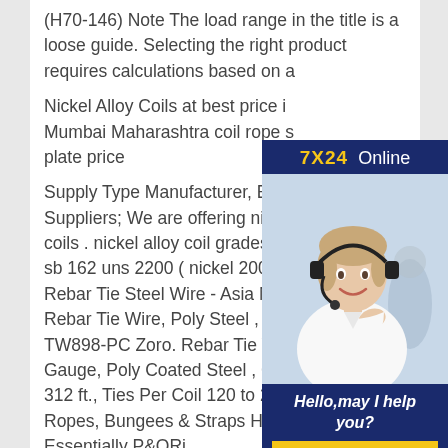(H70-146) Note The load range in the title is a loose guide. Selecting the right product requires calculations based on a
Nickel Alloy Coils at best price in Mumbai Maharashtra coil rope s... plate price
Supply Type Manufacturer, Exporter, Suppliers; We are offering nickel alloy coils . nickel alloy coil grades:- as... sb 162 uns 2200 ( nickel 200 ) un... Rebar Tie Steel Wire - Asia MetalMax Rebar Tie Wire, Poly Steel , 312 ft., PK50 TW898-PC Zoro. Rebar Tie Wire, 21 Gauge, Poly Coated Steel , Coil Length 312 ft., Ties Per Coil 120 to 210, Wraps Ropes, Bungees & Straps Hardware Essentially P&ORi...
[Figure (other): 7X24 Online chat widget with customer service agent photo and 'Hello, may I help you?' text and 'Get Latest Price' button]